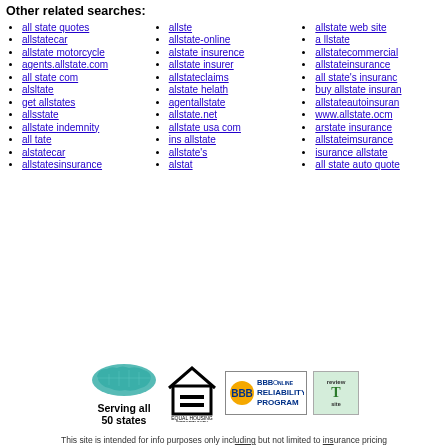Other related searches:
all state quotes
allstatecar
allstate motorcycle
agents.allstate.com
all state com
alsltate
get allstates
allsstate
allstate indemnity
all tate
alstatecar
allstatesinsurance
allste
allstate-online
alstate insurence
allstate insurer
allstateclaims
alstate helath
agentallstate
allstate.net
allstate usa com
ins allstate
allstate's
alstat
allstate web site
a llstate
allstatecommercial
allstateinsurance
all state's insurance
buy allstate insurance
allstateautoinsurance
www.allstate.ocm
arstate insurance
allstateimsurance
isurance allstate
all state auto quote
[Figure (infographic): Serving all 50 states badge with US map outline in teal]
[Figure (logo): Equal Housing Opportunity logo]
[Figure (logo): BBBOnline Reliability Program logo]
[Figure (logo): Review site badge (partially visible)]
This site is intended for info purposes only including but not limited to insurance pricing